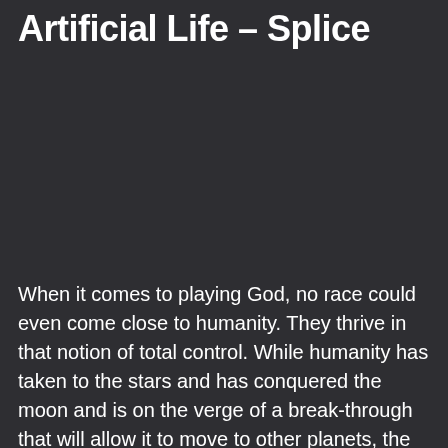Artificial Life – Splice
When it comes to playing God, no race could even come close to humanity. They thrive in that notion of total control. While humanity has taken to the stars and has conquered the moon and is on the verge of a break-through that will allow it to move to other planets, the one thing they have still not conquered is what started in their own vicinity. A